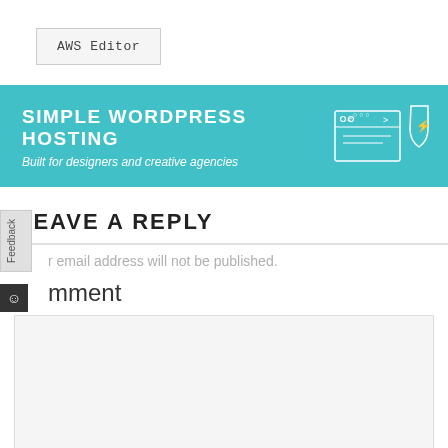AWS Editor
[Figure (infographic): Teal/cyan banner advertisement for Simple WordPress Hosting with browser window and shield icon illustration on the right. Text: SIMPLE WORDPRESS HOSTING - Built for designers and creative agencies]
LEAVE A REPLY
r email address will not be published.
mment